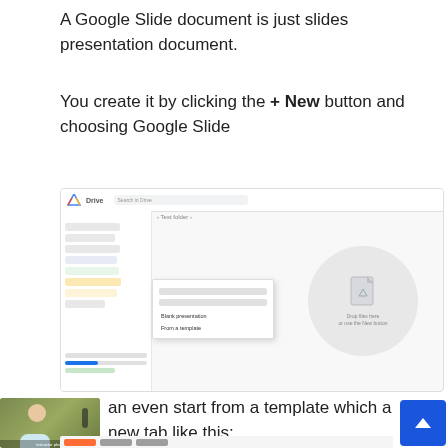A Google Slide document is just slides presentation document.
You create it by clicking the + New button and choosing Google Slide
[Figure (screenshot): Screenshot of Google Drive interface showing the left-side menu with Google Slides highlighted and a submenu with 'Blank presentation' and 'From a template' options. The right side shows a circular drop zone area.]
[Figure (photo): Thumbnail photo of a person (instructor) with a microphone in the background, greenish/olive background.]
an even start from a template which a new tab like this: